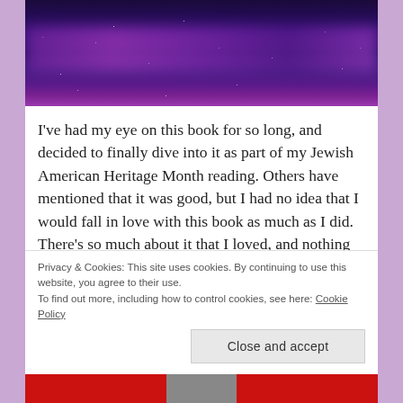[Figure (photo): A night sky photo showing the Milky Way galaxy with purple and blue hues, numerous stars visible against dark space background.]
I've had my eye on this book for so long, and decided to finally dive into it as part of my Jewish American Heritage Month reading. Others have mentioned that it was good, but I had no idea that I would fall in love with this book as much as I did. There's so much about it that I loved, and nothing that I didn't, so I'm just going to highlight the things about it that appealed most to me.
Privacy & Cookies: This site uses cookies. By continuing to use this website, you agree to their use.
To find out more, including how to control cookies, see here: Cookie Policy
Close and accept